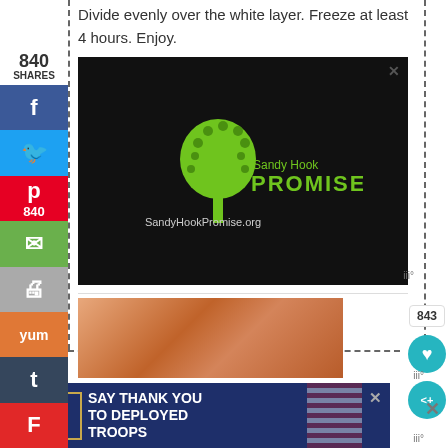Divide evenly over the white layer. Freeze at least 4 hours. Enjoy.
[Figure (screenshot): Sandy Hook Promise advertisement on black background with green tree logo made of hands, text 'Sandy Hook PROMISE' and 'SandyHookPromise.org']
[Figure (photo): Food photo - appears to be baked or cooked food item]
[Figure (screenshot): Operation Gratitude advertisement: 'SAY THANK YOU TO DEPLOYED TROOPS' with patriotic imagery]